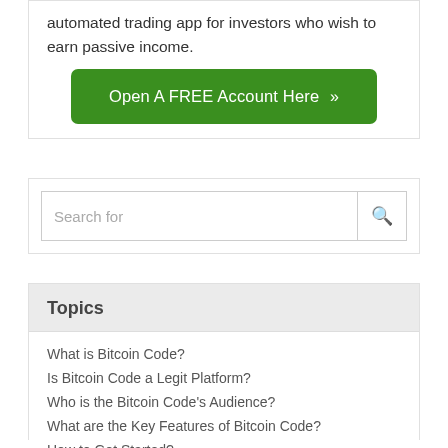automated trading app for investors who wish to earn passive income.
[Figure (other): Green button: Open A FREE Account Here »]
[Figure (other): Search input field with search icon]
Topics
What is Bitcoin Code?
Is Bitcoin Code a Legit Platform?
Who is the Bitcoin Code's Audience?
What are the Key Features of Bitcoin Code?
How to Get Started?
Final Verdict: